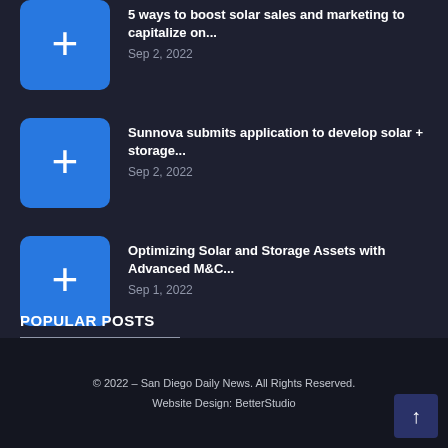5 ways to boost solar sales and marketing to capitalize on... Sep 2, 2022
Sunnova submits application to develop solar + storage... Sep 2, 2022
Optimizing Solar and Storage Assets with Advanced M&C... Sep 1, 2022
POPULAR POSTS
© 2022 – San Diego Daily News. All Rights Reserved. Website Design: BetterStudio